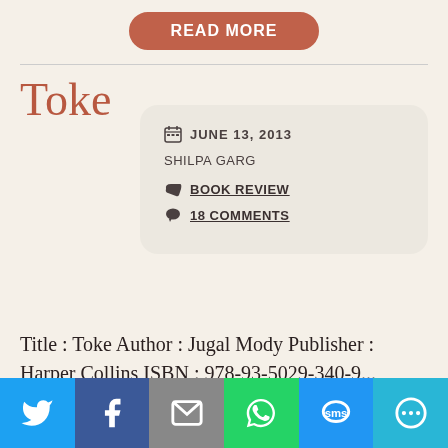[Figure (other): READ MORE button with rounded border in terracotta/red color]
Toke
JUNE 13, 2013
SHILPA GARG
BOOK REVIEW
18 COMMENTS
Title : Toke Author : Jugal Mody Publisher : Harper Collins ISBN : 978-93-5029-340-9...
[Figure (infographic): Social media sharing bar with Twitter, Facebook, Email, WhatsApp, SMS, and More icons]